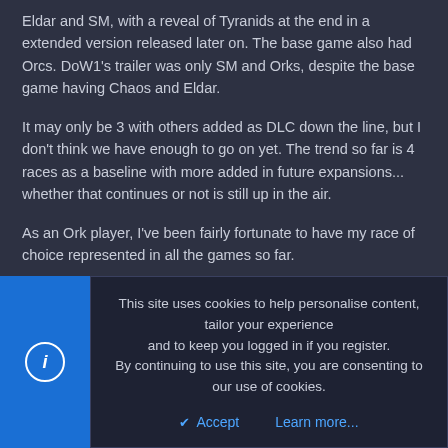Eldar and SM, with a reveal of Tyranids at the end in a extended version released later on. The base game also had Orcs. DoW1's trailer was only SM and Orks, despite the base game having Chaos and Eldar.
It may only be 3 with others added as DLC down the line, but I don't think we have enough to go on yet. The trend so far is 4 races as a baseline with more added in future expansions... whether that continues or not is still up in the air.
As an Ork player, I've been fairly fortunate to have my race of choice represented in all the games so far.
[Figure (other): User avatar for Barbas - gold skull cross emblem on dark background]
Barbas
ExQQxv1D1ns
This site uses cookies to help personalise content, tailor your experience and to keep you logged in if you register.
By continuing to use this site, you are consenting to our use of cookies.
Accept   Learn more...